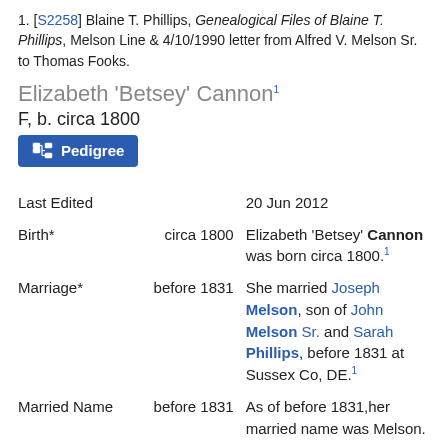[S2258] Blaine T. Phillips, Genealogical Files of Blaine T. Phillips, Melson Line & 4/10/1990 letter from Alfred V. Melson Sr. to Thomas Fooks.
Elizabeth 'Betsey' Cannon
F, b. circa 1800
[Figure (other): Pedigree button]
|  |  |  |
| --- | --- | --- |
| Last Edited |  | 20 Jun 2012 |
| Birth* | circa 1800 | Elizabeth 'Betsey' Cannon was born circa 1800.1 |
| Marriage* | before 1831 | She married Joseph Melson, son of John Melson Sr. and Sarah Phillips, before 1831 at Sussex Co, DE.1 |
| Married Name | before 1831 | As of before 1831,her married name was Melson. |
| Family |  | Joseph Melson b. 13 |